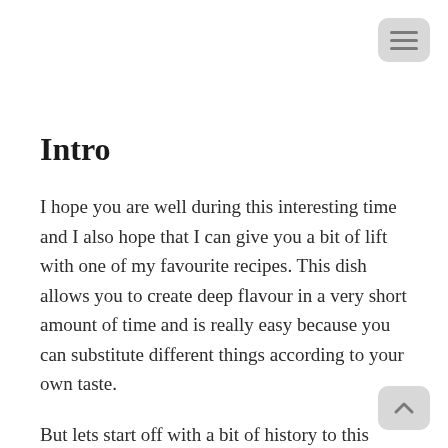Intro
I hope you are well during this interesting time and I also hope that I can give you a bit of lift with one of my favourite recipes. This dish allows you to create deep flavour in a very short amount of time and is really easy because you can substitute different things according to your own taste.
But lets start off with a bit of history to this dish: It developed over time with me trying to make a type of Thai Curry or at least play around with the flavours that it should contain. The reason why I started doing